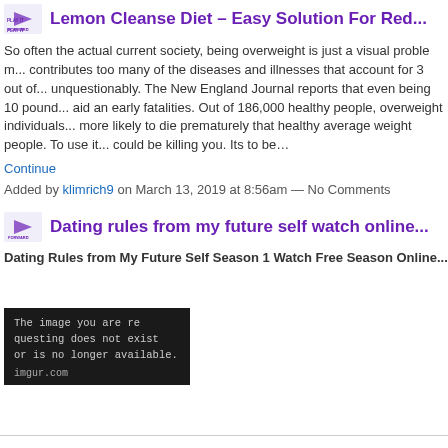Lemon Cleanse Diet - Easy Solution For Red...
So often the actual current society, being overweight is just a visual problem... contributes too many of the diseases and illnesses that account for 3 out of... unquestionably. The New England Journal reports that even being 10 poun... aid an early fatalities. Out of 186,000 healthy people, overweight individuals... more likely to die prematurely that healthy average weight people. To use it... could be killing you. Its to be…
Continue
Added by klimrich9 on March 13, 2019 at 8:56am — No Comments
Dating rules from my future self watch online...
Dating Rules from My Future Self Season 1 Watch Free Season Online...
[Figure (screenshot): Dark image placeholder box with text: The image you are requesting does not exist or is no longer available. imgur.com]